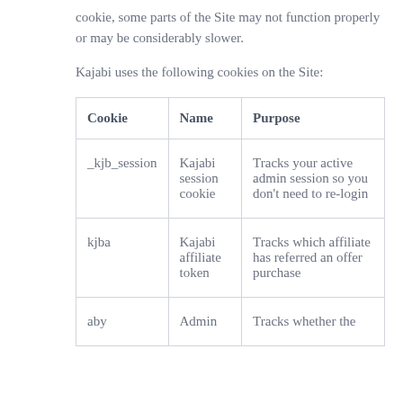cookie, some parts of the Site may not function properly or may be considerably slower.
Kajabi uses the following cookies on the Site:
| Cookie | Name | Purpose |
| --- | --- | --- |
| _kjb_session | Kajabi session cookie | Tracks your active admin session so you don't need to re-login |
| kjba | Kajabi affiliate token | Tracks which affiliate has referred an offer purchase |
| aby | Admin | Tracks whether the |